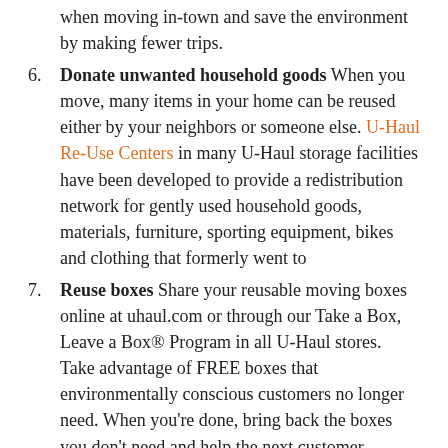(partial) when moving in-town and save the environment by making fewer trips.
6. Donate unwanted household goods When you move, many items in your home can be reused either by your neighbors or someone else. U-Haul Re-Use Centers in many U-Haul storage facilities have been developed to provide a redistribution network for gently used household goods, materials, furniture, sporting equipment, bikes and clothing that formerly went to
7. Reuse boxes Share your reusable moving boxes online at uhaul.com or through our Take a Box, Leave a Box® Program in all U-Haul stores. Take advantage of FREE boxes that environmentally conscious customers no longer need. When you're done, bring back the boxes you don't need and help the next customer.
8. Purchase environmentally friendly packing